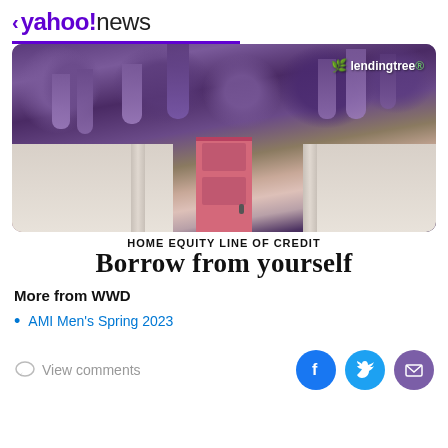< yahoo!news
[Figure (photo): Photo of a house with purple wisteria flowers hanging over a pink front door, white walls on either side. LendingTree logo in top right corner. Above the photo is a HOME EQUITY LINE OF CREDIT advertisement with partial headline 'Borrow from yourself'.]
More from WWD
AMI Men's Spring 2023
View comments
[Figure (infographic): Social share icons: Facebook (blue circle with F), Twitter (blue circle with bird), Email (purple circle with envelope)]